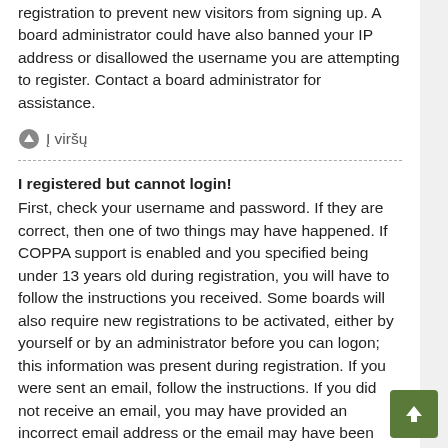registration to prevent new visitors from signing up. A board administrator could have also banned your IP address or disallowed the username you are attempting to register. Contact a board administrator for assistance.
Į viršų
I registered but cannot login!
First, check your username and password. If they are correct, then one of two things may have happened. If COPPA support is enabled and you specified being under 13 years old during registration, you will have to follow the instructions you received. Some boards will also require new registrations to be activated, either by yourself or by an administrator before you can logon; this information was present during registration. If you were sent an email, follow the instructions. If you did not receive an email, you may have provided an incorrect email address or the email may have been picked up by a spam filer. If you are sure the email address you provided is correct, try contacting an administrator.